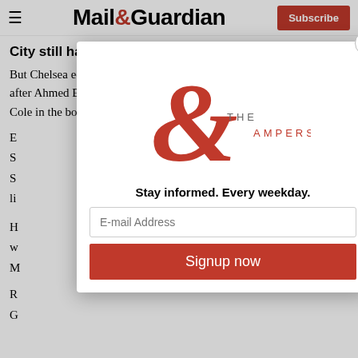Mail&Guardian — Subscribe
City still have a chance
But Chelsea equalised through Frank Lampard's 15th minute penalty after Ahmed Elmohamady was ruled to have climbed over Ashley Cole in the box.
[Figure (illustration): Modal popup overlay with 'The Ampersand' logo (large red ampersand symbol with 'THE AMPERSAND' text), tagline 'Stay informed. Every weekday.', an e-mail address input field, a 'Signup now' red button, and a close (X) button in the top-right corner of the modal.]